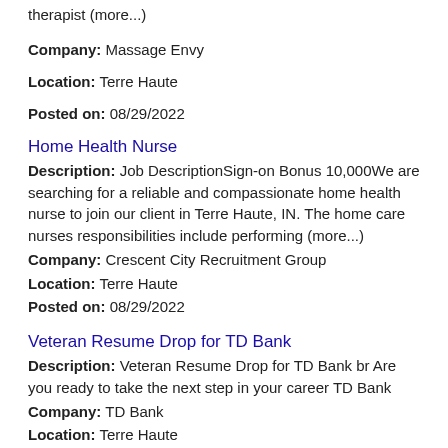therapist (more...)
Company: Massage Envy
Location: Terre Haute
Posted on: 08/29/2022
Home Health Nurse
Description: Job DescriptionSign-on Bonus 10,000We are searching for a reliable and compassionate home health nurse to join our client in Terre Haute, IN. The home care nurses responsibilities include performing (more...)
Company: Crescent City Recruitment Group
Location: Terre Haute
Posted on: 08/29/2022
Veteran Resume Drop for TD Bank
Description: Veteran Resume Drop for TD Bank br Are you ready to take the next step in your career TD Bank
Company: TD Bank
Location: Terre Haute
Posted on: 08/29/2022
Salary in Champaign, Illinois Area | More details for Champaign, Illinois Jobs |Salary